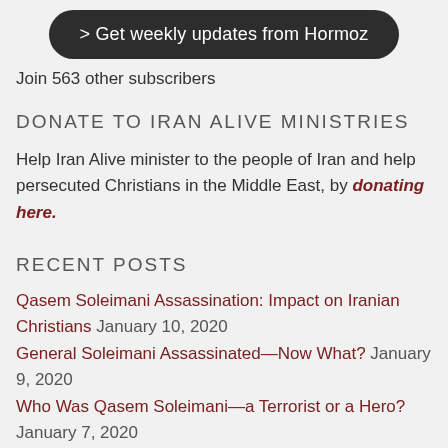> Get weekly updates from Hormoz
Join 563 other subscribers
DONATE TO IRAN ALIVE MINISTRIES
Help Iran Alive minister to the people of Iran and help persecuted Christians in the Middle East, by donating here.
RECENT POSTS
Qasem Soleimani Assassination: Impact on Iranian Christians January 10, 2020
General Soleimani Assassinated—Now What? January 9, 2020
Who Was Qasem Soleimani—a Terrorist or a Hero? January 7, 2020
Then and Now: The Current Political Climate of